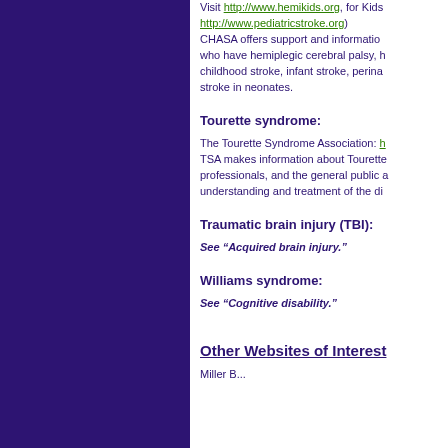Visit http://www.hemikids.org, for Kids http://www.pediatricstroke.org) CHASA offers support and information who have hemiplegic cerebral palsy, h childhood stroke, infant stroke, perina stroke in neonates.
Tourette syndrome:
The Tourette Syndrome Association: h TSA makes information about Tourette professionals, and the general public a understanding and treatment of the di
Traumatic brain injury (TBI):
See "Acquired brain injury."
Williams syndrome:
See "Cognitive disability."
Other Websites of Interest
Miller B...